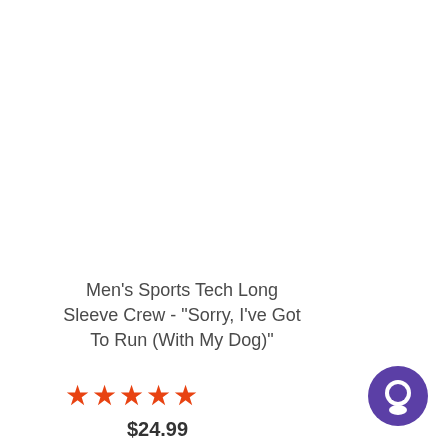Men's Sports Tech Long Sleeve Crew - "Sorry, I've Got To Run (With My Dog)"
★★★★★
$24.99
[Figure (illustration): Purple circular chat bubble icon in bottom-right corner]